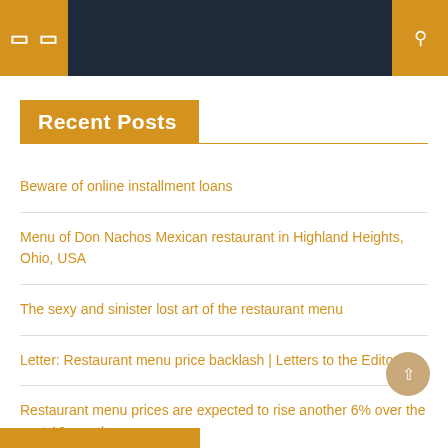Recent Posts
Beware of online installment loans
Menu of Don Nachos Mexican restaurant in Highland Heights, Ohio, USA
The sexy and sinister lost art of the restaurant menu
Letter: Restaurant menu price backlash | Letters to the Editor
Restaurant menu prices are expected to rise another 6% over the next 12 months
4 simple steps to revamp your restaurant menu for summer